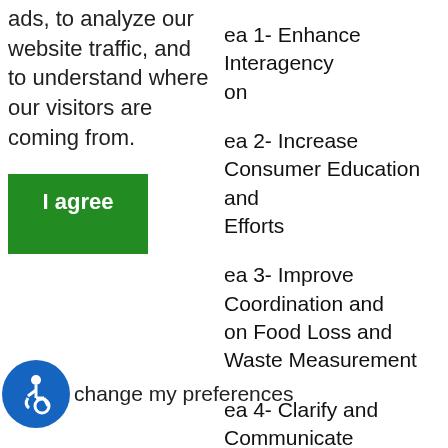ads, to analyze our website traffic, and to understand where our visitors are coming from.
Area 1- Enhance Interagency Coordination
Area 2- Increase Consumer Education and Outreach Efforts
Area 3- Improve Coordination and Collaboration on Food Loss and Waste Measurement
Area 4- Clarify and Communicate Information on Food Safety, Food Date Labels, and Food Donations
Area 5- Collaborate with Private Industry to Reduce Food Loss and Waste Across the Supply Chain
Area 6- Encourage Food Waste Reduction by Federal Agencies in Their Respective Facilities
The Food Recovery Hierarchy is a good framework for incorporating food waste solutions into your business to help reduce waste and